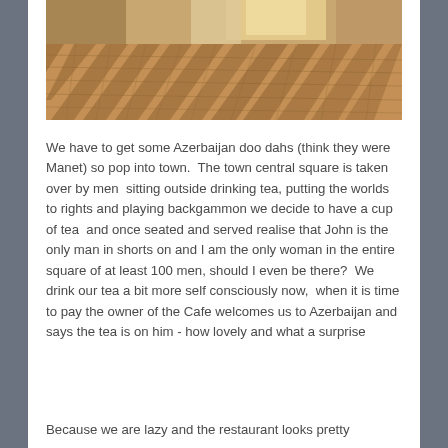[Figure (photo): Sunlit stone or brick floor with strong shadow patterns cast through an overhead lattice or grating, creating diagonal striped shadows across the paved surface. Warm brownish-golden tones.]
We have to get some Azerbaijan doo dahs (think they were Manet) so pop into town.  The town central square is taken over by men  sitting outside drinking tea, putting the worlds to rights and playing backgammon we decide to have a cup of tea  and once seated and served realise that John is the only man in shorts on and I am the only woman in the entire square of at least 100 men, should I even be there?  We drink our tea a bit more self consciously now,  when it is time to pay the owner of the Cafe welcomes us to Azerbaijan and says the tea is on him - how lovely and what a surprise
Because we are lazy and the restaurant looks pretty